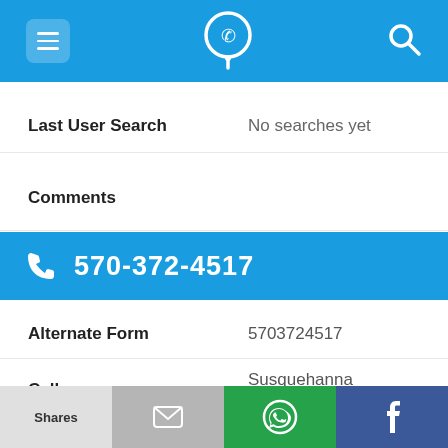570-372-4517 app header with hamburger menu, phone/location icon, and search icon
Last User Search: No searches yet
Comments
570-372-4517
Alternate Form: 5703724517
Caller name: Susquehanna University ...
URL: https://www.facebook.co...
Shares | (mail icon) | (WhatsApp icon) | f